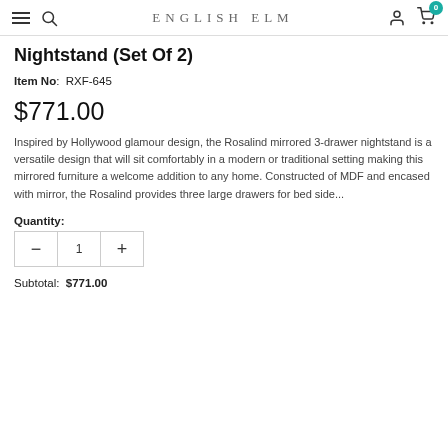ENGLISH ELM
Nightstand (Set Of 2)
Item No:  RXF-645
$771.00
Inspired by Hollywood glamour design, the Rosalind mirrored 3-drawer nightstand is a versatile design that will sit comfortably in a modern or traditional setting making this mirrored furniture a welcome addition to any home. Constructed of MDF and encased with mirror, the Rosalind provides three large drawers for bed side...
Quantity:
Subtotal:  $771.00